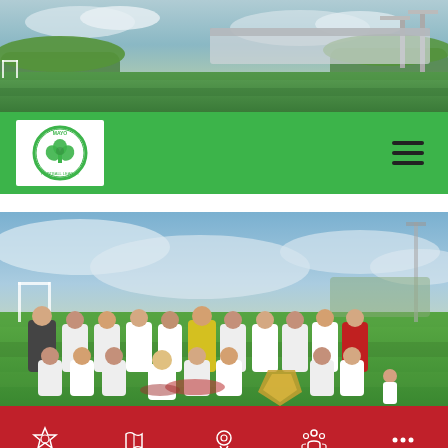[Figure (photo): Stadium aerial/ground level photo showing green football pitch and grandstand in the background, daytime.]
[Figure (logo): Mayo Football League circular logo with shamrock/clover emblem in green and white on a white background.]
[Figure (photo): Football team group photo on a grass pitch with blue sky. Players in white and red kits, one goalkeeper in yellow. Players holding medals and a shield trophy.]
DIVISION
MATCHES
RESULTS
STANDINGS
MORE